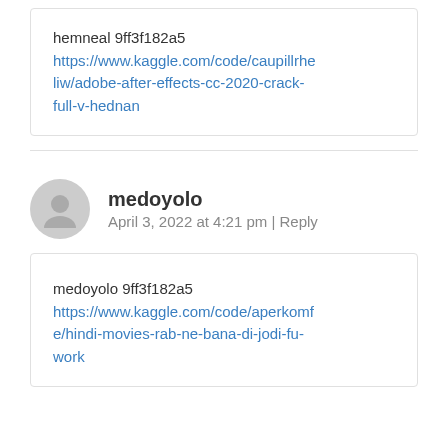hemneal 9ff3f182a5
https://www.kaggle.com/code/caupillrheliw/adobe-after-effects-cc-2020-crack-full-v-hednan
medoyolo
April 3, 2022 at 4:21 pm | Reply
medoyolo 9ff3f182a5
https://www.kaggle.com/code/aperkomfe/hindi-movies-rab-ne-bana-di-jodi-fu-work